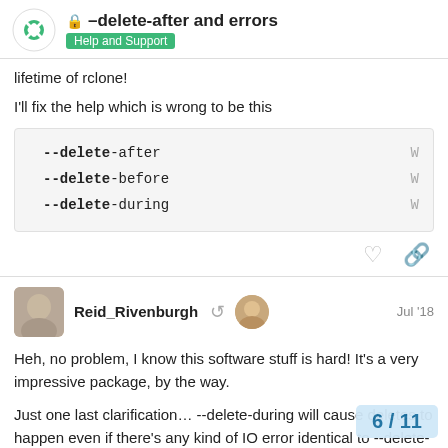–delete-after and errors | Help and Support
lifetime of rclone!
I'll fix the help which is wrong to be this
--delete-after
--delete-before
--delete-during
Reid_Rivenburgh   Jul '18
Heh, no problem, I know this software stuff is hard! It's a very impressive package, by the way.
Just one last clarification... --delete-during will cause deletes to happen even if there's any kind of IO error identical to --delete-after in conjunction wit